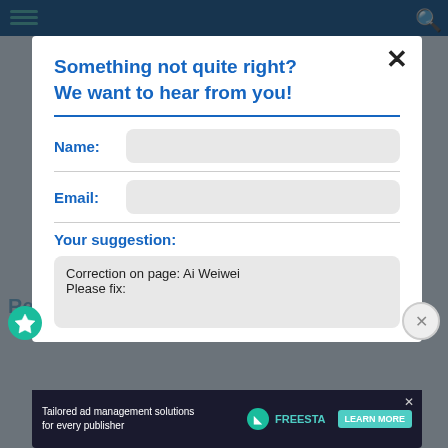[Figure (screenshot): Website background with navigation bar and blurred page content]
Something not quite right?
We want to hear from you!
Name:
Email:
Your suggestion:
Correction on page: Ai Weiwei
Please fix:
[Figure (screenshot): Advertisement banner: Tailored ad management solutions for every publisher — FREESTA LEARN MORE]